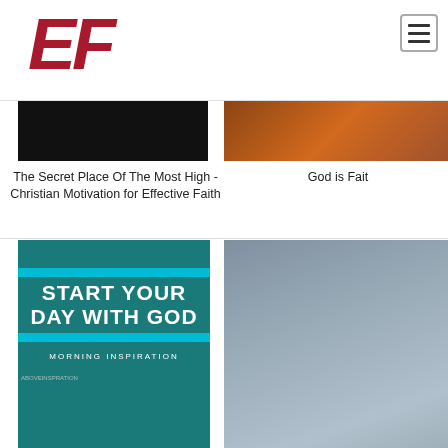[Figure (logo): EF logo in bold red italic letters]
[Figure (screenshot): Hamburger menu icon button]
[Figure (photo): Dark/black image thumbnail for first article]
The Secret Place Of The Most High - Christian Motivation for Effective Faith
[Figure (photo): Brown/dark image thumbnail for second article]
God is Fait
[Figure (photo): START YOUR DAY WITH GOD - MORNING INSPIRATION thumbnail image]
[Figure (photo): Gray/blue photo thumbnail on right side]